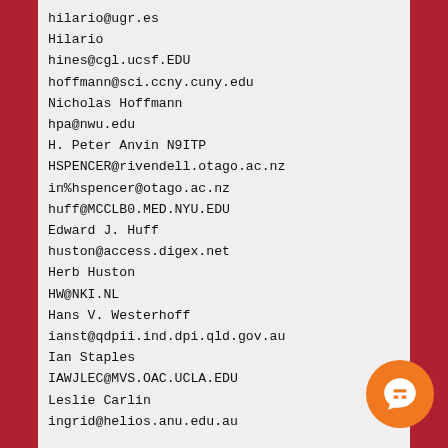hilario@ugr.es
Hilario
hines@cgl.ucsf.EDU
hoffmann@sci.ccny.cuny.edu
Nicholas Hoffmann
hpa@nwu.edu
H. Peter Anvin N9ITP
HSPENCER@rivendell.otago.ac.nz
in%hspencer@otago.ac.nz
huff@MCCLB0.MED.NYU.EDU
Edward J. Huff
huston@access.digex.net
Herb Huston
HW@NKI.NL
Hans V. Westerhoff
ianst@qdpii.ind.dpi.qld.gov.au
Ian Staples
IAWJLEC@MVS.OAC.UCLA.EDU
Leslie Carlin
ingrid@helios.anu.edu.au